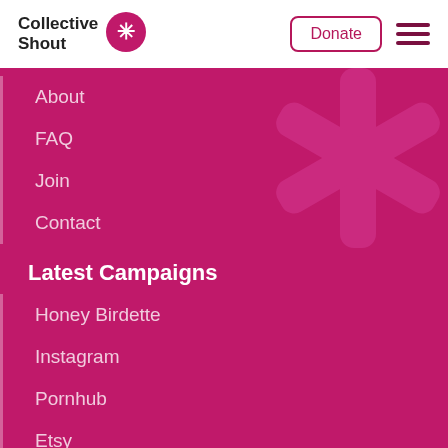Collective Shout | Donate
About
FAQ
Join
Contact
Latest Campaigns
Honey Birdette
Instagram
Pornhub
Etsy
Trending Now